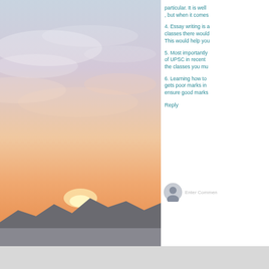[Figure (photo): Sunset sky with warm orange and pink clouds over a silhouetted mountain range, photographed from below]
particular. It is well , but when it comes
4. Essay writing is a classes there would This would help you
5. Most importantly of UPSC in recent the classes you mu
6. Learning how to gets poor marks in ensure good marks
Reply